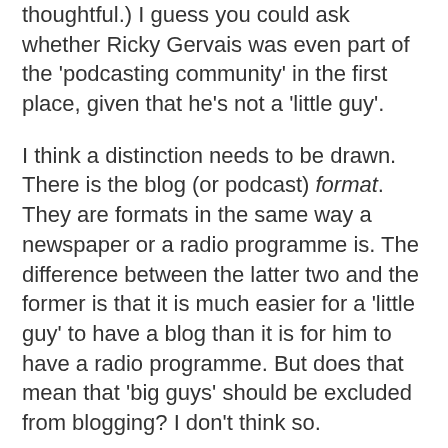thoughtful.) I guess you could ask whether Ricky Gervais was even part of the 'podcasting community' in the first place, given that he's not a 'little guy'.
I think a distinction needs to be drawn. There is the blog (or podcast) format. They are formats in the same way a newspaper or a radio programme is. The difference between the latter two and the former is that it is much easier for a 'little guy' to have a blog than it is for him to have a radio programme. But does that mean that 'big guys' should be excluded from blogging? I don't think so.
I broadly welcome MSM attempts to step into the 'blogosphere'. Of course, if they do it badly, as many do, they risk being ridiculed and, indeed, alienated from the community (I want to stress community; more on that in a minute). But if a 'big guy' does blogging well, it can have many advantages. Isn't that why Tim Ireland tries